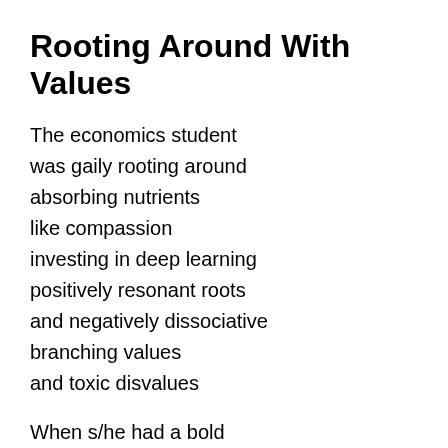Rooting Around With Values
The economics student
was gaily rooting around
absorbing nutrients
like compassion
investing in deep learning
positively resonant roots
and negatively dissociative
branching values
and toxic disvalues
When s/he had a bold
green epiphany
These cooperatively positive values
were